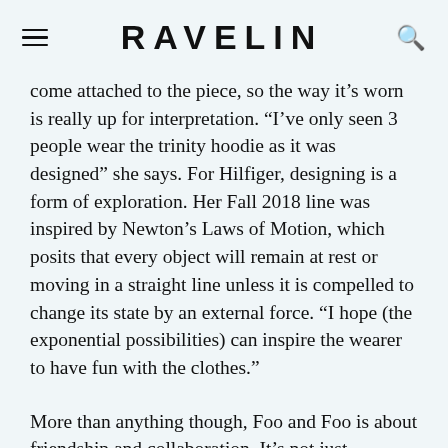RAVELIN
come attached to the piece, so the way it’s worn is really up for interpretation. “I’ve only seen 3 people wear the trinity hoodie as it was designed” she says. For Hilfiger, designing is a form of exploration. Her Fall 2018 line was inspired by Newton’s Laws of Motion, which posits that every object will remain at rest or moving in a straight line unless it is compelled to change its state by an external force. “I hope (the exponential possibilities) can inspire the wearer to have fun with the clothes.”
More than anything though, Foo and Foo is about friendship and collaboration. It’s not just